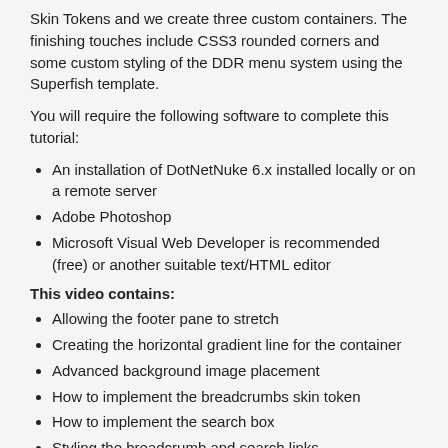Skin Tokens and we create three custom containers. The finishing touches include CSS3 rounded corners and some custom styling of the DDR menu system using the Superfish template.
You will require the following software to complete this tutorial:
An installation of DotNetNuke 6.x installed locally or on a remote server
Adobe Photoshop
Microsoft Visual Web Developer is recommended (free) or another suitable text/HTML editor
This video contains:
Allowing the footer pane to stretch
Creating the horizontal gradient line for the container
Advanced background image placement
How to implement the breadcrumbs skin token
How to implement the search box
Styling the breadcrumb and search links
Tags: dnn6  skin  search
Author: Andy Stephenson